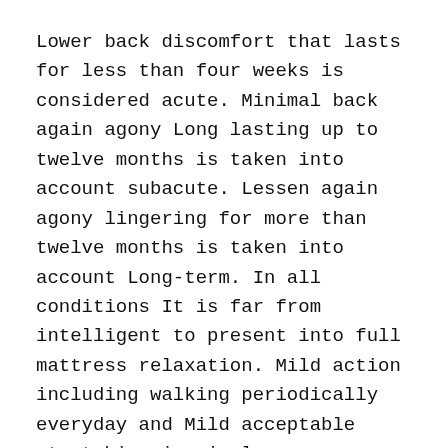Lower back discomfort that lasts for less than four weeks is considered acute. Minimal back again agony Long lasting up to twelve months is taken into account subacute. Lessen again agony lingering for more than twelve months is taken into account Long-term. In all conditions It is far from intelligent to present into full mattress relaxation. Mild action including walking periodically everyday and Mild acceptable stretching is simpler.
Physical measures such as chiropractic spinal manipulation, also known as chiropractic spinal changes are advisable through the ACP.
Chiropractors are licensed as Physicians. Their training involves usual undergraduate programs